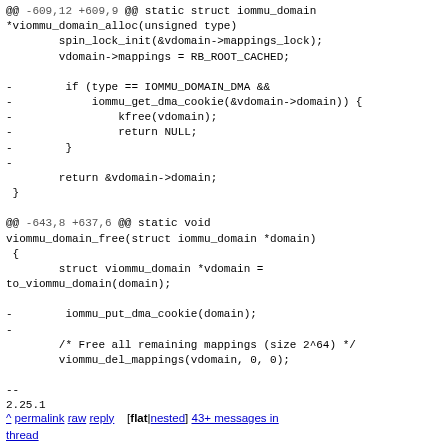@@ -609,12 +609,9 @@ static struct iommu_domain *viommu_domain_alloc(unsigned type)
        spin_lock_init(&vdomain->mappings_lock);
        vdomain->mappings = RB_ROOT_CACHED;

-        if (type == IOMMU_DOMAIN_DMA &&
-            iommu_get_dma_cookie(&vdomain->domain)) {
-                kfree(vdomain);
-                return NULL;
-        }
-
        return &vdomain->domain;
 }

@@ -643,8 +637,6 @@ static void viommu_domain_free(struct iommu_domain *domain)
 {
        struct viommu_domain *vdomain =
to_viommu_domain(domain);

-        iommu_put_dma_cookie(domain);
-
        /* Free all remaining mappings (size 2^64) */
        viommu_del_mappings(vdomain, 0, 0);

--
2.25.1
^ permalink raw reply    [flat|nested] 43+ messages in thread